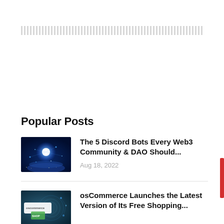[Figure (other): Advertisement placeholder — dotted/stippled gray rectangle banner]
Popular Posts
[Figure (photo): Blue glowing planet/earth with network connections in space — thumbnail for Discord Bots article]
The 5 Discord Bots Every Web3 Community & DAO Should...
Aug 18, 2022
[Figure (photo): osCommerce logo with tech/digital background — thumbnail for osCommerce article]
osCommerce Launches the Latest Version of Its Free Shopping...